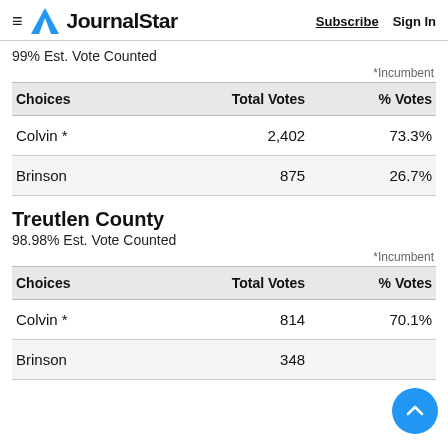JournalStar   Subscribe   Sign In
99% Est. Vote Counted
*Incumbent
| Choices | Total Votes | % Votes |
| --- | --- | --- |
| Colvin * | 2,402 | 73.3% |
| Brinson | 875 | 26.7% |
Treutlen County
98.98% Est. Vote Counted
*Incumbent
| Choices | Total Votes | % Votes |
| --- | --- | --- |
| Colvin * | 814 | 70.1% |
| Brinson | 348 | 29.9% |